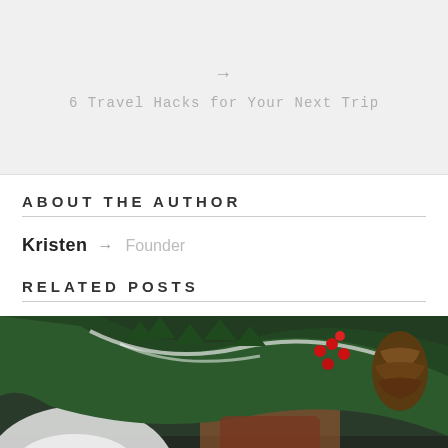[Figure (other): Navigation box with arrow and link text '6 Travel Hacks for Your Next Trip' on a light gray background]
ABOUT THE AUTHOR
Kristen → Founder
RELATED POSTS
[Figure (photo): Photo of a holiday/Christmas cocktail with sugar-rimmed glass, pine branches with snow, red berries, and pinecones]